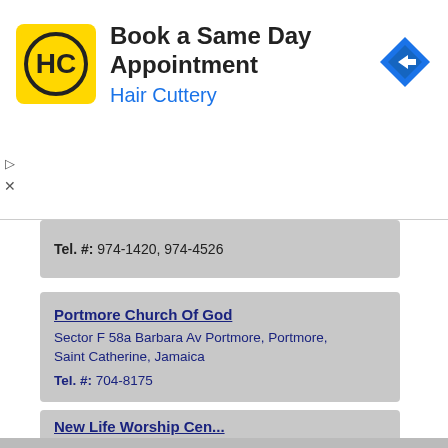[Figure (screenshot): Hair Cuttery advertisement banner with logo, 'Book a Same Day Appointment' text, and navigation icon]
Tel. #: 974-1420, 974-4526
Portmore Church Of God
Sector F 58a Barbara Av Portmore, Portmore, Saint Catherine, Jamaica
Tel. #: 704-8175
Independence City Church Of Christ
8 Hellshire Dr Portmore, Portmore, Saint Catherine, Jamaica
Tel. #: 708-9824
New Life Worship Cen...